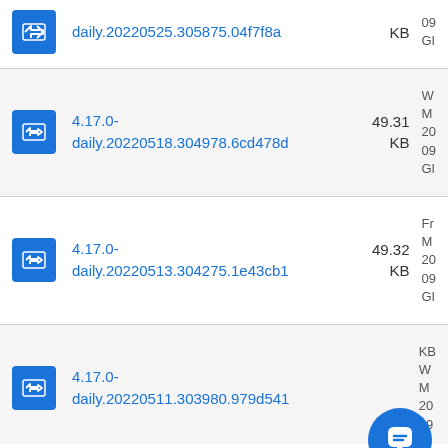4.17.0-daily.20220525.305875.04f7f8a  KB  09  Gl
4.17.0-daily.20220518.304978.6cd478d  49.31 KB  W M 20 09 Gl
4.17.0-daily.20220513.304275.1e43cb1  49.32 KB  Fr M 20 09 Gl
4.17.0-daily.20220511.303980.979d541  KB  W M 20 09